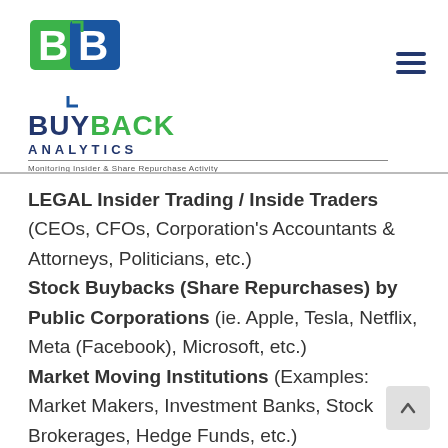[Figure (logo): Buyback Analytics logo with green and blue interlocked B letters icon, brand name BUYBACK in dark blue and green, ANALYTICS in dark blue small caps, tagline 'Monitoring Insider & Share Repurchase Activity']
LEGAL Insider Trading / Inside Traders (CEOs, CFOs, Corporation's Accountants & Attorneys, Politicians, etc.) Stock Buybacks (Share Repurchases) by Public Corporations (ie. Apple, Tesla, Netflix, Meta (Facebook), Microsoft, etc.) Market Moving Institutions (Examples: Market Makers, Investment Banks, Stock Brokerages, Hedge Funds, etc.)